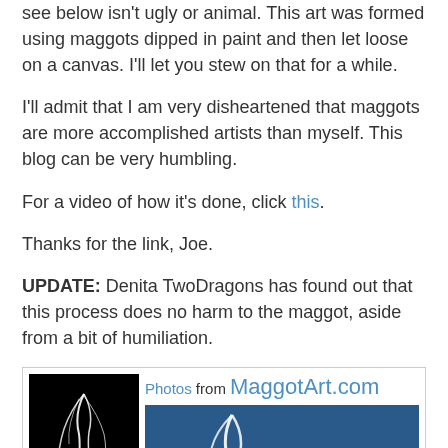see below isn't ugly or animal. This art was formed using maggots dipped in paint and then let loose on a canvas. I'll let you stew on that for a while.
I'll admit that I am very disheartened that maggots are more accomplished artists than myself. This blog can be very humbling.
For a video of how it's done, click this.
Thanks for the link, Joe.
UPDATE: Denita TwoDragons has found out that this process does no harm to the maggot, aside from a bit of humiliation.
[Figure (photo): Two photos from MaggotArt.com showing white paint trails on black background (left) and white and red paint trails on blue background (right)]